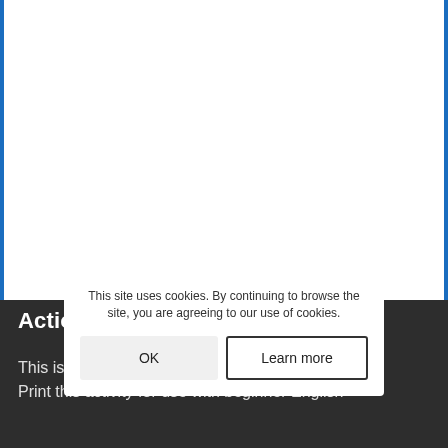[Figure (screenshot): White area with blue left and right borders representing a webpage content area]
This site uses cookies. By continuing to browse the site, you are agreeing to our use of cookies.
Actions Crossword 3
This is action crossword 3 puzzle worksheet. Print this activity for use with beginner English